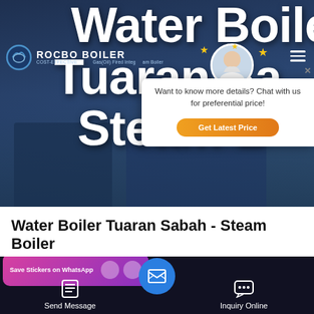[Figure (screenshot): Website hero banner showing Rocbo Boiler company header with large white text 'Water Boiler Tuaran Sabah Steam Boiler' overlaid on a dark blue industrial background. Includes company logo, navigation hamburger menu, and a chat popup widget with an avatar photo, stars decoration, text 'Want to know more details? Chat with us for preferential price!' and an orange 'Get Latest Price' button.]
Water Boiler Tuaran Sabah - Steam Boiler
[Figure (screenshot): Bottom navigation bar with dark background showing 'Save Stickers on WhatsApp' pink/purple popup, 'Send Message' button on left, central blue circular email/message button, and 'Inquiry Online' button on right.]